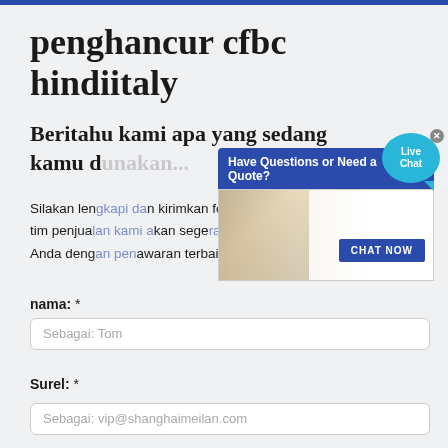penghancur cfbc hindiitaly
Beritahu kami apa yang sedang kamu d...
Silakan lengkapi dan kirimkan formulir berikut dan tim penjualan kami akan segera menghubungi Anda dengan penawaran terbaik kami.
[Figure (screenshot): Live chat popup overlay with 'Have Questions or Need a Quote?' header, a customer service representative photo, and a 'CHAT NOW' button. Also shows a 'Live Chat' speech bubble in the top right corner.]
nama: *
Sebagai: Tom
Surel: *
Sebagai: vip@shanghaimeilan.com